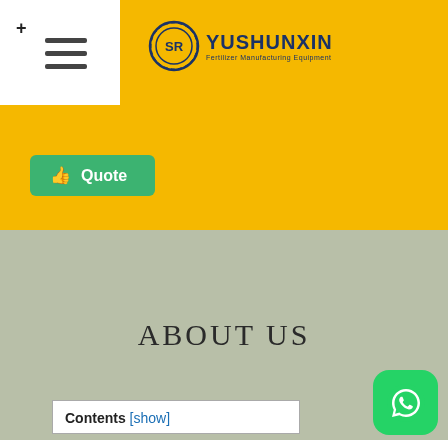YUSHUNXIN - Fertilizer Manufacturing Equipment
[Figure (logo): Yushunxin logo with circular gear emblem and text 'YUSHUNXIN Fertilizer Manufacturing Equipment' on yellow header bar]
[Figure (other): Green Quote button with thumbs-up icon]
ABOUT US
Contents [show]
[Figure (other): WhatsApp floating button (green rounded square with WhatsApp icon)]